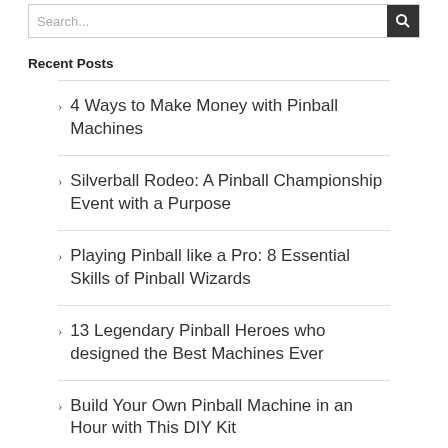Recent Posts
4 Ways to Make Money with Pinball Machines
Silverball Rodeo: A Pinball Championship Event with a Purpose
Playing Pinball like a Pro: 8 Essential Skills of Pinball Wizards
13 Legendary Pinball Heroes who designed the Best Machines Ever
Build Your Own Pinball Machine in an Hour with This DIY Kit